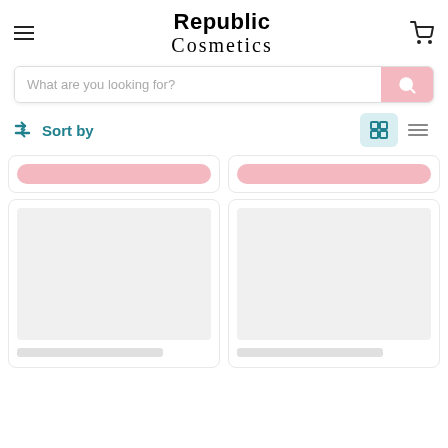Republic Cosmetics
What are you looking for?
Sort by
[Figure (screenshot): Two product cards partially visible at top showing pink button strips, and two product cards below showing grey image placeholders for cosmetics products.]